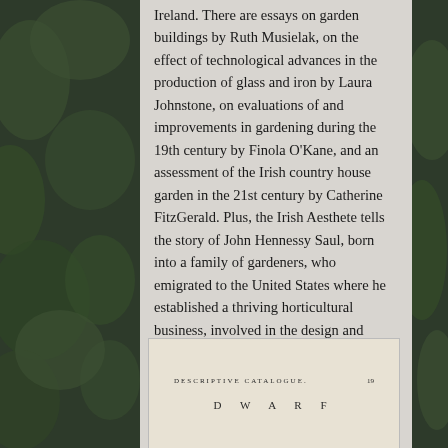Ireland. There are essays on garden buildings by Ruth Musielak, on the effect of technological advances in the production of glass and iron by Laura Johnstone, on evaluations of and improvements in gardening during the 19th century by Finola O'Kane, and an assessment of the Irish country house garden in the 21st century by Catherine FitzGerald. Plus, the Irish Aesthete tells the story of John Hennessy Saul, born into a family of gardeners, who emigrated to the United States where he established a thriving horticultural business, involved in the design and creation of gardeners throughout that country.
[Figure (other): Old book page showing 'Descriptive Catalogue' header with page number 19 and the word 'DWARF' in large spaced letters below, on aged paper background.]